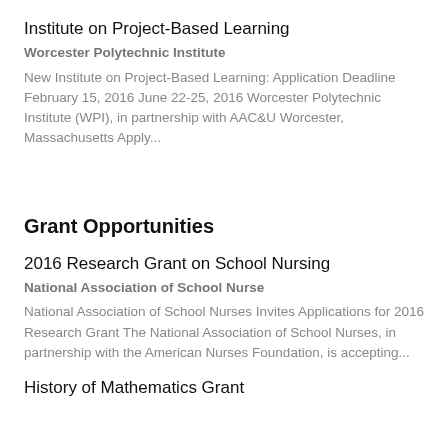Institute on Project-Based Learning
Worcester Polytechnic Institute
New Institute on Project-Based Learning: Application Deadline February 15, 2016 June 22-25, 2016 Worcester Polytechnic Institute (WPI), in partnership with AAC&U Worcester, Massachusetts Apply...
Grant Opportunities
2016 Research Grant on School Nursing
National Association of School Nurse
National Association of School Nurses Invites Applications for 2016 Research Grant The National Association of School Nurses, in partnership with the American Nurses Foundation, is accepting...
History of Mathematics Grant